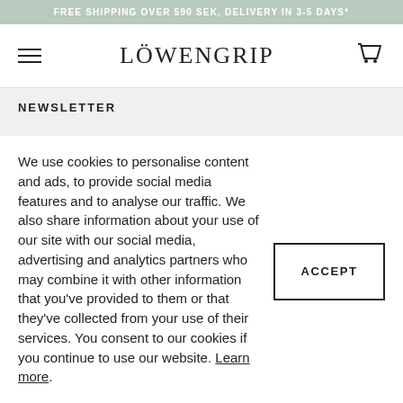FREE SHIPPING OVER 590 SEK, DELIVERY IN 3-5 DAYS*
[Figure (logo): Löwengrip brand logo with hamburger menu icon and shopping cart icon]
NEWSLETTER
Löwengrip Beauty
We use cookies to personalise content and ads, to provide social media features and to analyse our traffic. We also share information about your use of our site with our social media, advertising and analytics partners who may combine it with other information that you've provided to them or that they've collected from your use of their services. You consent to our cookies if you continue to use our website. Learn more.